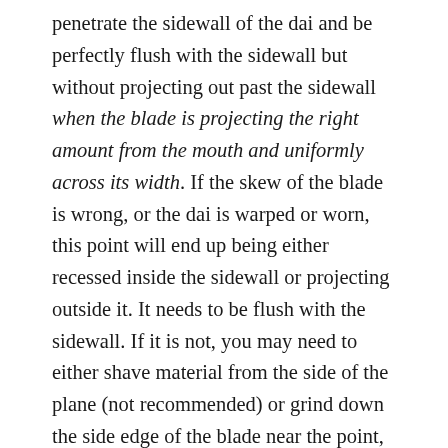penetrate the sidewall of the dai and be perfectly flush with the sidewall but without projecting out past the sidewall when the blade is projecting the right amount from the mouth and uniformly across its width. If the skew of the blade is wrong, or the dai is warped or worn, this point will end up being either recessed inside the sidewall or projecting outside it. It needs to be flush with the sidewall. If it is not, you may need to either shave material from the side of the plane (not recommended) or grind down the side edge of the blade near the point, a drastic measure. This is seldom necessary, and when it is, the reason is almost always a badly warped dai.
As you can see, this is a juggling act, but so long as you